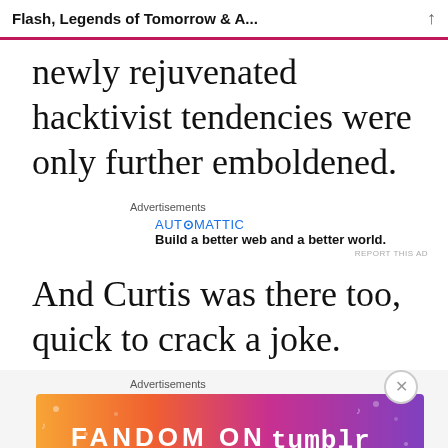Flash, Legends of Tomorrow & A...
newly rejuvenated hacktivist tendencies were only further emboldened.
Advertisements
[Figure (other): Automattic advertisement: AUT⊙MATTIC — Build a better web and a better world.]
And Curtis was there too, quick to crack a joke.
Advertisements
[Figure (other): Fandom on Tumblr advertisement banner with colorful gradient background]